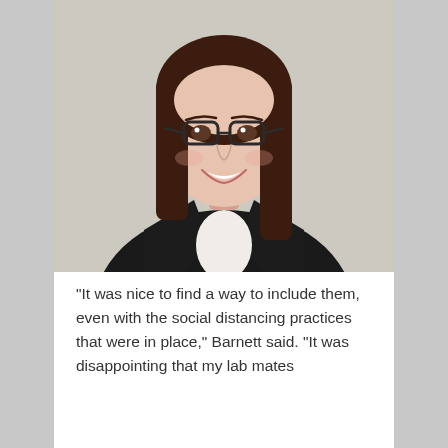[Figure (photo): Professional headshot of a young woman with long dark brown hair, wearing glasses and a black blazer over a white top, smiling at the camera against a light background.]
“It was nice to find a way to include them, even with the social distancing practices that were in place,” Barnett said. “It was disappointing that my lab mates couldn’t be in all the same t…